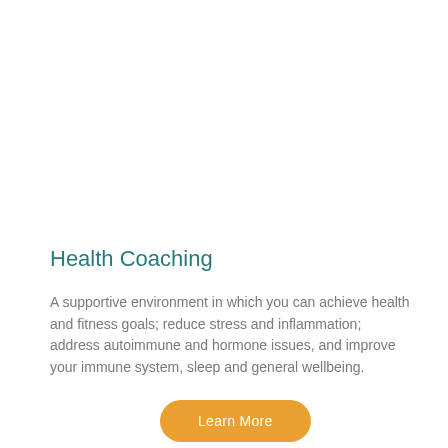Health Coaching
A supportive environment in which you can achieve health and fitness goals; reduce stress and inflammation; address autoimmune and hormone issues, and improve your immune system, sleep and general wellbeing.
Learn More